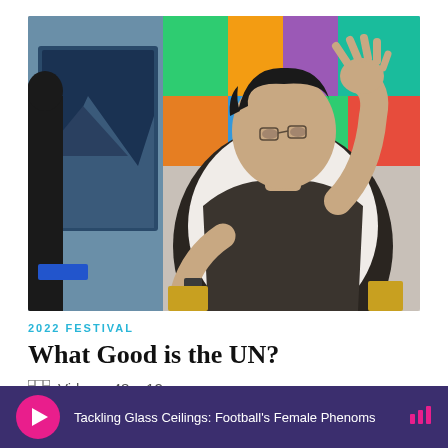[Figure (photo): A man in a dark vest and white shirt seated, gesturing with his raised right hand, speaking at what appears to be the Aspen Ideas Festival 2022. Colorful geometric background panels behind him.]
2022 FESTIVAL
What Good is the UN?
Video – 48m 12s
Tackling Glass Ceilings: Football's Female Phenoms